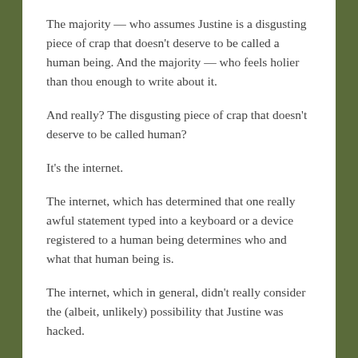The majority — who assumes Justine is a disgusting piece of crap that doesn't deserve to be called a human being. And the majority — who feels holier than thou enough to write about it.
And really? The disgusting piece of crap that doesn't deserve to be called human?
It's the internet.
The internet, which has determined that one really awful statement typed into a keyboard or a device registered to a human being determines who and what that human being is.
The internet, which in general, didn't really consider the (albeit, unlikely) possibility that Justine was hacked.
Which frankly, may or might be a small, or not so significant...